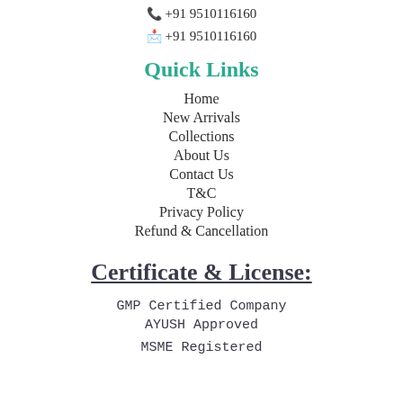📞 +91 9510116160
💬 +91 9510116160
Quick Links
Home
New Arrivals
Collections
About Us
Contact Us
T&C
Privacy Policy
Refund & Cancellation
Certificate & License:
GMP Certified Company
AYUSH Approved
MSME Registered